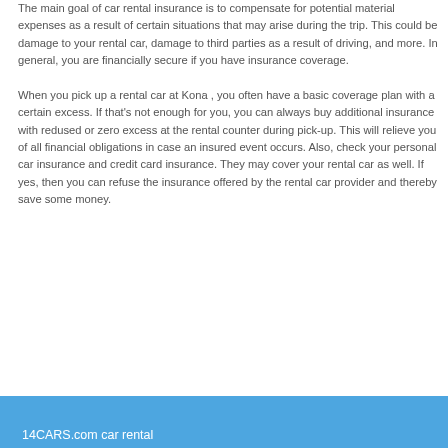The main goal of car rental insurance is to compensate for potential material expenses as a result of certain situations that may arise during the trip. This could be damage to your rental car, damage to third parties as a result of driving, and more. In general, you are financially secure if you have insurance coverage. When you pick up a rental car at Kona , you often have a basic coverage plan with a certain excess. If that's not enough for you, you can always buy additional insurance with redused or zero excess at the rental counter during pick-up. This will relieve you of all financial obligations in case an insured event occurs. Also, check your personal car insurance and credit card insurance. They may cover your rental car as well. If yes, then you can refuse the insurance offered by the rental car provider and thereby save some money.
14CARS.com car rental